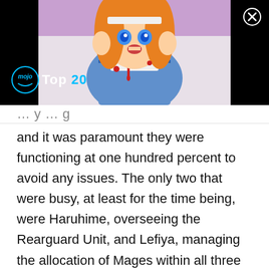[Figure (screenshot): A video thumbnail showing an anime character with orange hair and blue eyes, appearing distressed with blood visible. The image has a black background on the sides. A WatchMojo logo badge is visible with 'Top 20' text in white and cyan. A close (X) button is in the top right corner.]
and it was paramount they were functioning at one hundred percent to avoid any issues. The only two that were busy, at least for the time being, were Haruhime, overseeing the Rearguard Unit, and Lefiya, managing the allocation of Mages within all three Units, essentially serving the role that Riveria would have filled in the past.